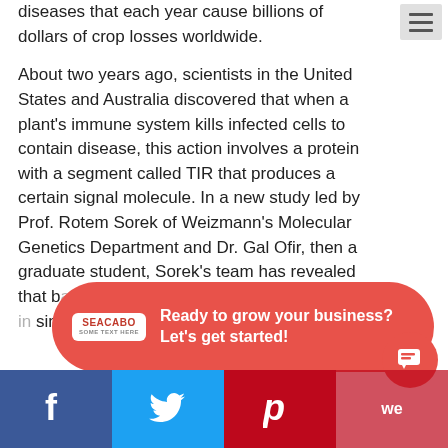diseases that each year cause billions of dollars of crop losses worldwide.
About two years ago, scientists in the United States and Australia discovered that when a plant's immune system kills infected cells to contain disease, this action involves a protein with a segment called TIR that produces a certain signal molecule. In a new study led by Prof. Rotem Sorek of Weizmann's Molecular Genetics Department and Dr. Gal Ofir, then a graduate student, Sorek's team has revealed that bacteria and some plant diseases operate in similar ways.
[Figure (other): Advertisement overlay banner in red/coral pill shape. Logo: SEACABO. Text: Ready to grow your business? Let's get started!]
Social share buttons: Facebook, Twitter, Pinterest, We